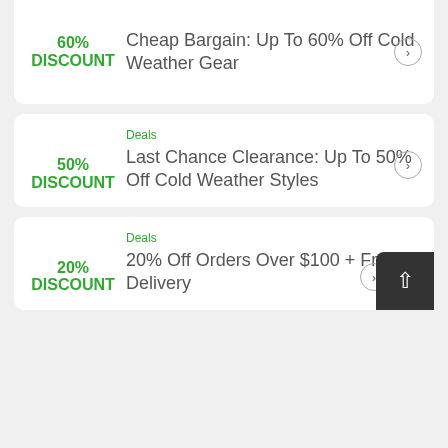60% DISCOUNT — Cheap Bargain: Up To 60% Off Cold Weather Gear
Deals — 50% DISCOUNT — Last Chance Clearance: Up To 50% Off Cold Weather Styles
Deals — 20% DISCOUNT — 20% Off Orders Over $100 + Free Delivery